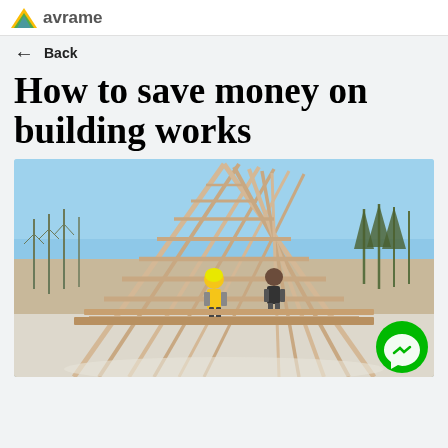avrame
← Back
How to save money on building works
[Figure (photo): Workers constructing a wooden A-frame structure outdoors in winter conditions, with bare trees in the background and snow on the ground. Two workers in safety gear are visible working on the wooden roof framing.]